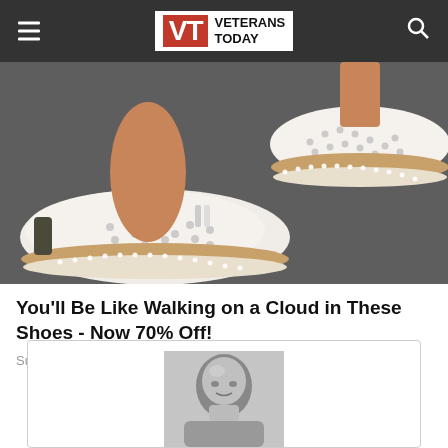Veterans Today
[Figure (photo): Close-up photo of feet wearing white perforated slip-on sneakers with tan/cork trim and beige stitched sole, on a dark ground surface.]
You'll Be Like Walking on a Cloud in These Shoes - Now 70% Off!
Sursell
[Figure (photo): Black and white portrait photo of a bald man in a partially visible card/widget at the bottom of the page.]